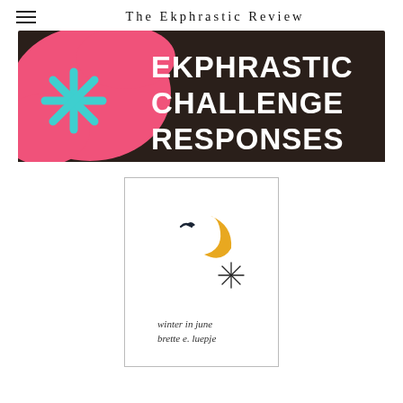The Ekphrastic Review
[Figure (illustration): Banner graphic with dark brown background, pink blob shape, teal star/asterisk shape on the left, and bold white text reading EKPHRASTIC CHALLENGE RESPONSES]
[Figure (illustration): Artwork card with white background showing a minimalist illustration: a small black bird/swallow silhouette, a golden crescent moon, and a small asterisk/star drawn in thin lines. At the bottom in handwritten script: 'winter in june / brette e. luepje']